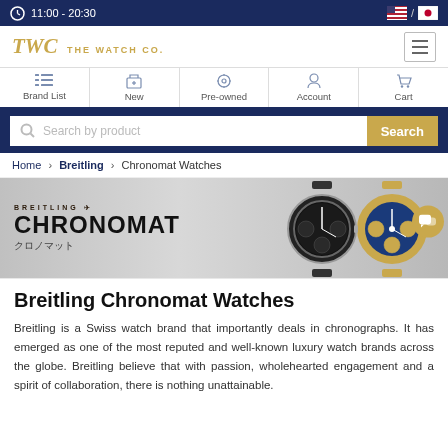11:00 - 20:30
[Figure (logo): TWC THE WATCH CO. logo in gold italic text]
Brand List | New | Pre-owned | Account | Cart
Search by product
Home > Breitling > Chronomat Watches
[Figure (photo): Breitling Chronomat banner with two luxury watches - one black dial and one blue dial with gold accents, text reads BREITLING CHRONOMAT クロノマット]
Breitling Chronomat Watches
Breitling is a Swiss watch brand that importantly deals in chronographs. It has emerged as one of the most reputed and well-known luxury watch brands across the globe. Breitling believe that with passion, wholehearted engagement and a spirit of collaboration, there is nothing unattainable.